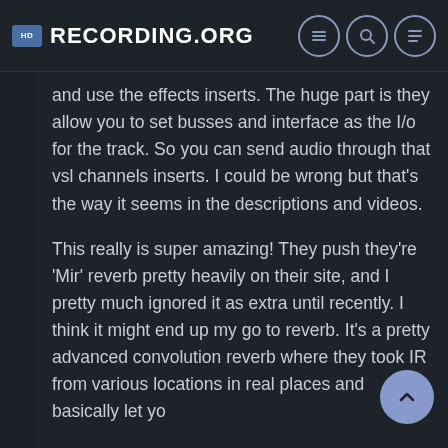Recording.org
and use the effects inserts. The huge part is they allow you to set busses and interface as the I/o for the track. So you can send audio through that vsl channels inserts. I could be wrong but that's the way it seems in the descriptions and videos.
This really is super amazing! They push they're 'Mir' reverb pretty heavily on their site, and I pretty much ignored it as extra until recently. I think it might end up my go to reverb. It's a pretty advanced convolution reverb where they took IR from various locations in real places and basically let yo